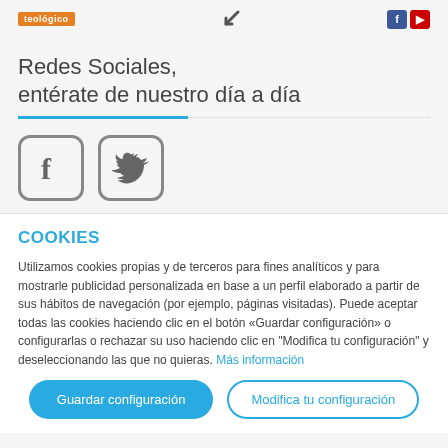[Figure (logo): Top bar with teologico orange badge, arrow icon, and Facebook/YouTube colored buttons]
Redes Sociales, entérate de nuestro día a día
[Figure (illustration): Facebook and Twitter social media icon boxes with rounded square borders]
COOKIES
Utilizamos cookies propias y de terceros para fines analíticos y para mostrarle publicidad personalizada en base a un perfil elaborado a partir de sus hábitos de navegación (por ejemplo, páginas visitadas). Puede aceptar todas las cookies haciendo clic en el botón «Guardar configuración» o configurarlas o rechazar su uso haciendo clic en "Modifica tu configuración" y deseleccionando las que no quieras. Más información
Guardar configuración | Modifica tu configuración